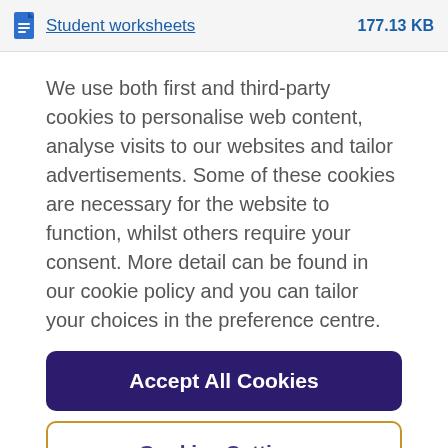Student worksheets   177.13 KB
We use both first and third-party cookies to personalise web content, analyse visits to our websites and tailor advertisements. Some of these cookies are necessary for the website to function, whilst others require your consent. More detail can be found in our cookie policy and you can tailor your choices in the preference centre.
Accept All Cookies
Cookies Settings